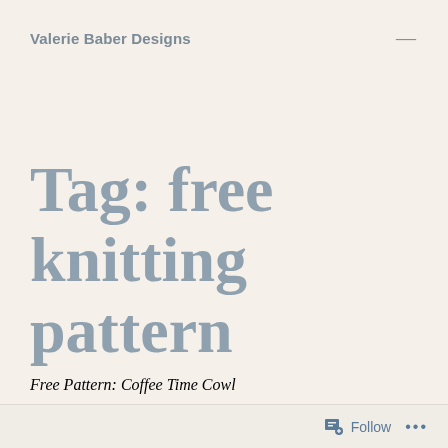Valerie Baber Designs
Tag: free knitting pattern
Free Pattern: Coffee Time Cowl
Follow ...